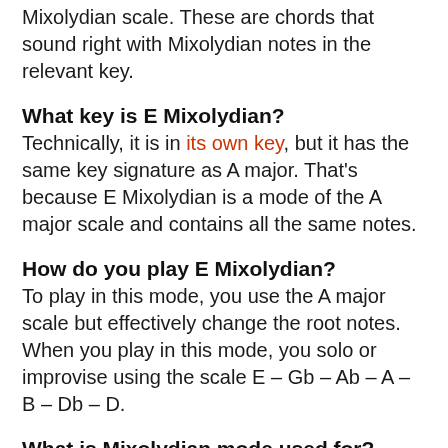Mixolydian scale. These are chords that sound right with Mixolydian notes in the relevant key.
What key is E Mixolydian?
Technically, it is in its own key, but it has the same key signature as A major. That's because E Mixolydian is a mode of the A major scale and contains all the same notes.
How do you play E Mixolydian?
To play in this mode, you use the A major scale but effectively change the root notes. When you play in this mode, you solo or improvise using the scale E – Gb – Ab – A – B – Db – D.
What is Mixolydian mode used for?